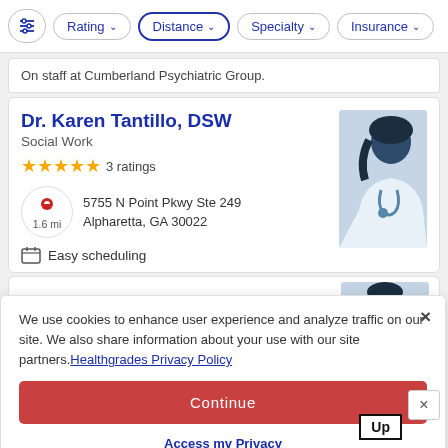Rating  Distance  Specialty  Insurance
On staff at Cumberland Psychiatric Group.
Dr. Karen Tantillo, DSW
Social Work
3 ratings
5755 N Point Pkwy Ste 249
Alpharetta, GA 30022
1.6 mi
Easy scheduling
We use cookies to enhance user experience and analyze traffic on our site. We also share information about your use with our site partners. Healthgrades Privacy Policy
Continue
Access my Privacy Preferences